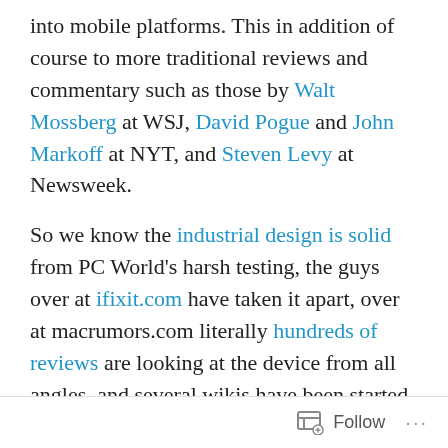into mobile platforms. This in addition of course to more traditional reviews and commentary such as those by Walt Mossberg at WSJ, David Pogue and John Markoff at NYT, and Steven Levy at Newsweek.
So we know the industrial design is solid from PC World's harsh testing, the guys over at ifixit.com have taken it apart, over at macrumors.com literally hundreds of reviews are looking at the device from all angles, and several wikis have been started (at least five by my latest count). Smash has documented the 10 things that suck, we now know that it wasn't a sellout (except at the poor smaller AT&T stores), and that the poorly recessed headphone plug doesn't work with most 3rd party headsets. The inevitable mobile phone pundits have compared it with the
Follow ···